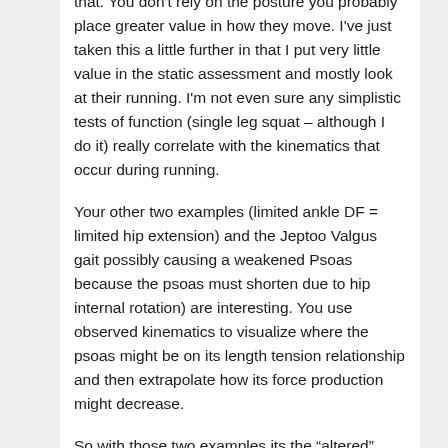that. You don't rely on the posture you probably place greater value in how they move. I've just taken this a little further in that I put very little value in the static assessment and mostly look at their running. I'm not even sure any simplistic tests of function (single leg squat – although I do it) really correlate with the kinematics that occur during running.
Your other two examples (limited ankle DF = limited hip extension) and the Jeptoo Valgus gait possibly causing a weakened Psoas because the psoas must shorten due to hip internal rotation) are interesting. You use observed kinematics to visualize where the psoas might be on its length tension relationship and then extrapolate how its force production might decrease.
So with those two examples its the “altered”